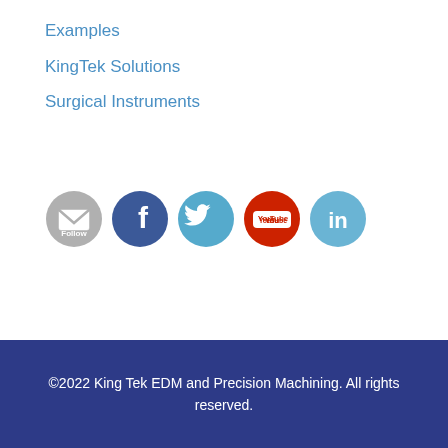Examples
KingTek Solutions
Surgical Instruments
[Figure (infographic): Row of 5 social media icons: Follow (email/grey circle), Facebook (blue circle with f), Twitter (light blue circle with bird), YouTube (red circle with YouTube logo), LinkedIn (light blue circle with in)]
©2022 King Tek EDM and Precision Machining. All rights reserved.